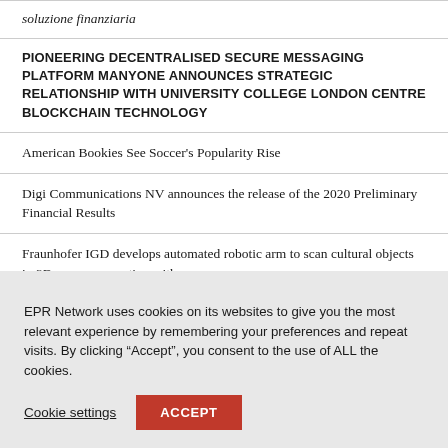soluzione finanziaria
PIONEERING DECENTRALISED SECURE MESSAGING PLATFORM MANYONE ANNOUNCES STRATEGIC RELATIONSHIP WITH UNIVERSITY COLLEGE LONDON CENTRE BLOCKCHAIN TECHNOLOGY
American Bookies See Soccer's Popularity Rise
Digi Communications NV announces the release of the 2020 Preliminary Financial Results
Fraunhofer IGD develops automated robotic arm to scan cultural objects in 3D, now cooperating with
EPR Network uses cookies on its websites to give you the most relevant experience by remembering your preferences and repeat visits. By clicking “Accept”, you consent to the use of ALL the cookies.
Cookie settings
ACCEPT